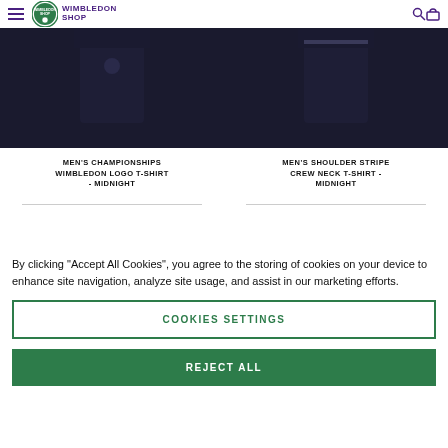Wimbledon Shop
[Figure (photo): Men's Championships Wimbledon Logo T-Shirt in Midnight (dark navy) - product image cropped at top]
MEN'S CHAMPIONSHIPS WIMBLEDON LOGO T-SHIRT - MIDNIGHT
[Figure (photo): Men's Shoulder Stripe Crew Neck T-Shirt in Midnight (dark navy) - product image cropped at top]
MEN'S SHOULDER STRIPE CREW NECK T-SHIRT - MIDNIGHT
By clicking "Accept All Cookies", you agree to the storing of cookies on your device to enhance site navigation, analyze site usage, and assist in our marketing efforts.
COOKIES SETTINGS
REJECT ALL